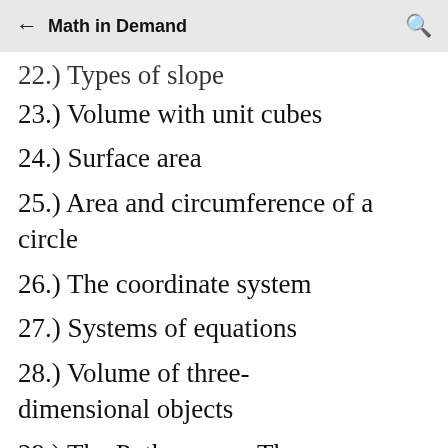← Math in Demand 🔍
22.) Types of slope
23.) Volume with unit cubes
24.) Surface area
25.) Area and circumference of a circle
26.) The coordinate system
27.) Systems of equations
28.) Volume of three-dimensional objects
29.) The Pythagorean Theorem
30.) Probability of an Event 1
31.) Probability of an Event 2